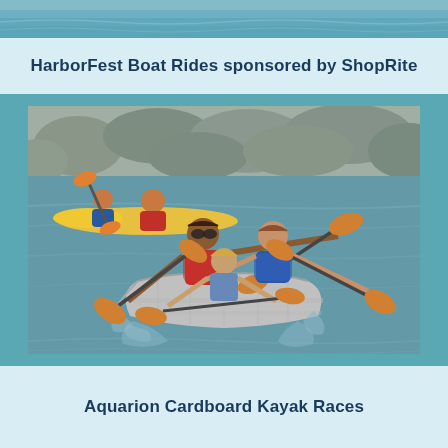[Figure (photo): Top strip showing water/harbor scene]
HarborFest Boat Rides sponsored by ShopRite
[Figure (photo): People paddling a cardboard kayak/boat in a race on the water, with orange paddles. Another kayak visible in background.]
Aquarion Cardboard Kayak Races